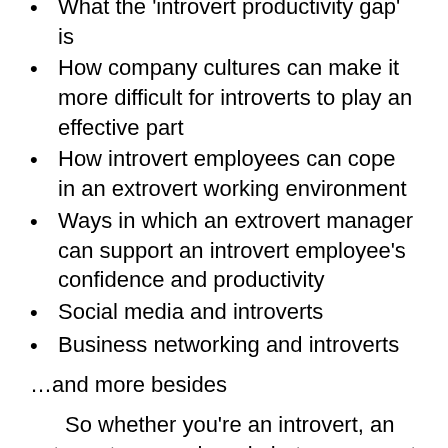What the ‘introvert productivity gap’ is
How company cultures can make it more difficult for introverts to play an effective part
How introvert employees can cope in an extrovert working environment
Ways in which an extrovert manager can support an introvert employee's confidence and productivity
Social media and introverts
Business networking and introverts
…and more besides
So whether you’re an introvert, an extrovert, somewhere in between or not